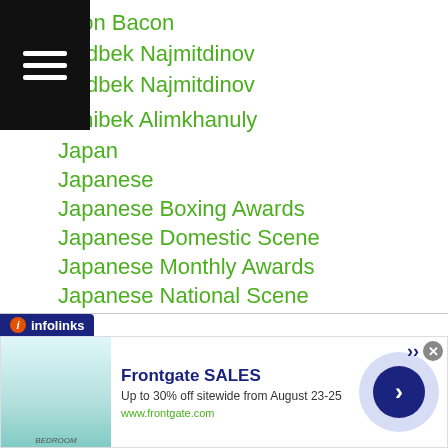eson Bacon
shidbek Najmitdinov
shidbek Najmitdinov
Janibek Alimkhanuly
Japan
Japanese
Japanese Boxing Awards
Japanese Domestic Scene
Japanese Monthly Awards
Japanese National Scene
Japanese Title Fights
Japanese-title-fights
Japanese Youth Title
Japanese Youth Tournament
Jason Buenaobra
Jason Canoy
[Figure (screenshot): Infolinks ad bar with Frontgate SALES advertisement: 'Up to 30% off sitewide from August 23-25', www.frontgate.com, bedroom image, close button, and blue arrow navigation button]